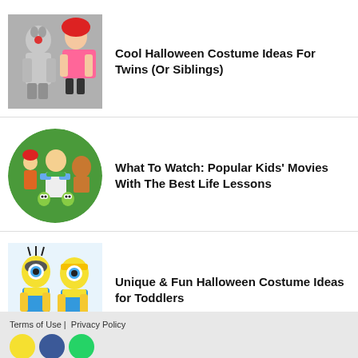[Figure (photo): Two children in Halloween costumes - one dressed as a wolf/bear and one as Little Red Riding Hood]
Cool Halloween Costume Ideas For Twins (Or Siblings)
[Figure (photo): Circular image of Toy Story animated characters including Buzz Lightyear, Jessie, and others]
What To Watch: Popular Kids' Movies With The Best Life Lessons
[Figure (photo): Two toddlers dressed as Minions from Despicable Me in yellow and blue costumes]
Unique & Fun Halloween Costume Ideas for Toddlers
Terms of Use | Privacy Policy